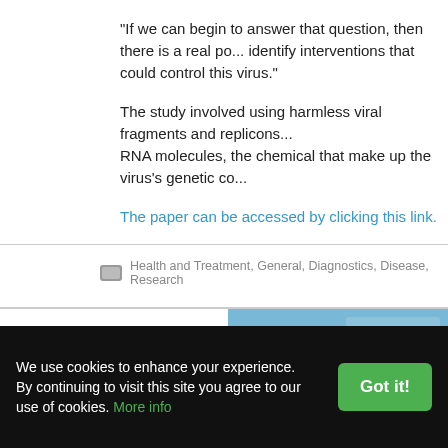"If we can begin to answer that question, then there is a real pos... identify interventions that could control this virus."
The study involved using harmless viral fragments and replicons... RNA molecules, the chemical that make up the virus's genetic co...
The paper can be accessed by clicking this link.
Health and Treatment, General, Diagnostics, Disease, Research
[Figure (photo): Thermo Fisher Scientific advertisement banner showing a woman in a lab coat with agricultural/scientific background imagery and ThermoFisher Scientific logo]
We use cookies to enhance your experience. By continuing to visit this site you agree to our use of cookies. More info